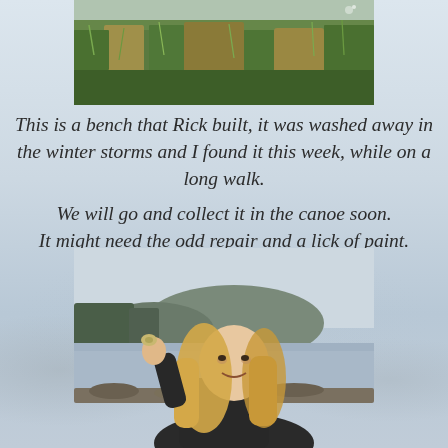[Figure (photo): Top photo showing green grass and vegetation, partially visible, cropped at top of page]
This is a bench that Rick built, it was washed away in the winter storms and I found it this week, while on a long walk.
We will go and collect it in the canoe soon.
It might need the odd repair and a lick of paint.
[Figure (photo): Photo of a young girl with long blonde hair holding up a small object (shell or stone) near her face, smiling, with a loch and hills in the background]